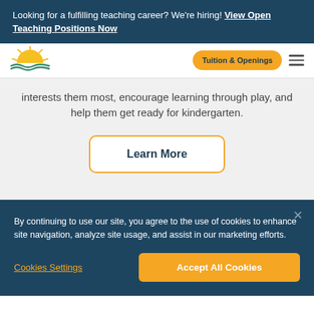Looking for a fulfilling teaching career? We're hiring! View Open Teaching Positions Now
[Figure (logo): Sunrise logo with yellow sun rays above green water waves]
Tuition & Openings
interests them most, encourage learning through play, and help them get ready for kindergarten.
Learn More
By continuing to use our site, you agree to the use of cookies to enhance site navigation, analyze site usage, and assist in our marketing efforts.
Cookies Settings
Accept All Cookies